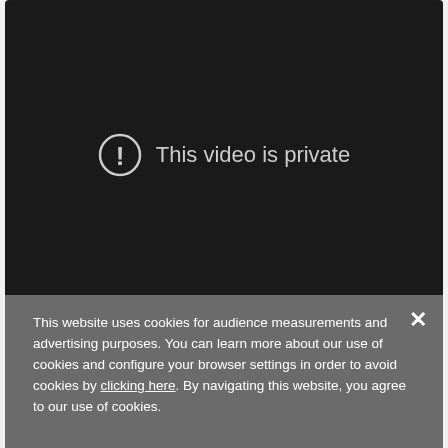[Figure (screenshot): Dark video player showing 'This video is private' message with a circle exclamation icon on a black background.]
This website uses cookies for audience measurements and advertising purposes. You can learn more about our use of cookies and configure your browser settings in order to avoid cookies by clicking here. By navigating this website, you agree to our use of cookies.